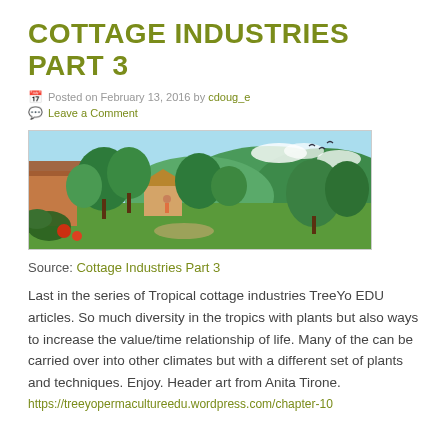COTTAGE INDUSTRIES PART 3
Posted on February 13, 2016 by cdoug_e
Leave a Comment
[Figure (illustration): Colorful tropical landscape painting showing a village scene with lush green trees, mountains in the background, buildings/huts with thatched roofs, and tropical plants in the foreground. Header art from Anita Tirone.]
Source: Cottage Industries Part 3
Last in the series of Tropical cottage industries TreeYo EDU articles. So much diversity in the tropics with plants but also ways to increase the value/time relationship of life. Many of the can be carried over into other climates but with a different set of plants and techniques. Enjoy. Header art from Anita Tirone.
https://treeyopermacultureedu.wordpress.com/chapter-10